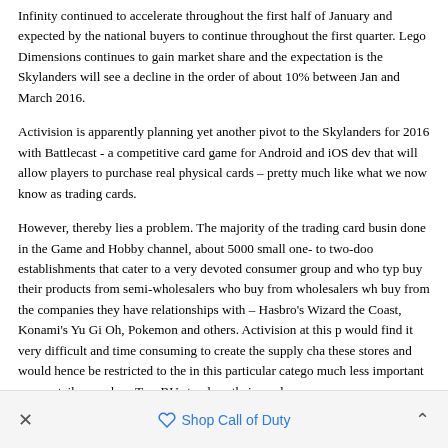Infinity continued to accelerate throughout the first half of January and expected by the national buyers to continue throughout the first quarter. Lego Dimensions continues to gain market share and the expectation is the Skylanders will see a decline in the order of about 10% between Jan and March 2016.
Activision is apparently planning yet another pivot to the Skylanders for 2016 with Battlecast - a competitive card game for Android and iOS dev that will allow players to purchase real physical cards – pretty much like what we now know as trading cards.
However, thereby lies a problem. The majority of the trading card busin done in the Game and Hobby channel, about 5000 small one- to two-doo establishments that cater to a very devoted consumer group and who typ buy their products from semi-wholesalers who buy from wholesalers wh buy from the companies they have relationships with – Hasbro's Wizard the Coast, Konami's Yu Gi Oh, Pokemon and others. Activision at this p would find it very difficult and time consuming to create the supply cha these stores and would hence be restricted to the in this particular catego much less important mass retailers such as ToysRUs to place their produ.
It is against this background that we have to consider the three recent ve significant initiatives taken by Activision.
× Shop Call of Duty ^